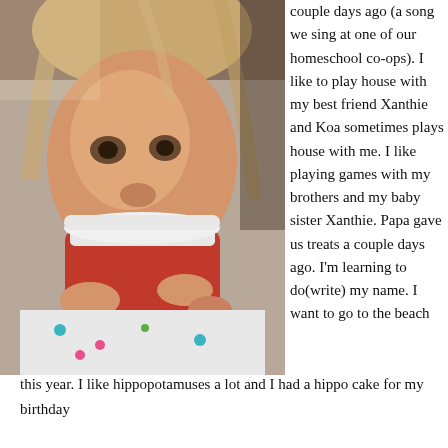[Figure (photo): A young girl drinking from a red Starbucks cup, wearing a floral patterned top, photographed indoors.]
couple days ago (a song we sing at one of our homeschool co-ops). I like to play house with my best friend Xanthie and Koa sometimes plays house with me. I like playing games with my brothers and my baby sister Xanthie. Papa gave us treats a couple days ago. I'm learning to do(write) my name. I want to go to the beach this year. I like hippopotamuses a lot and I had a hippo cake for my birthday